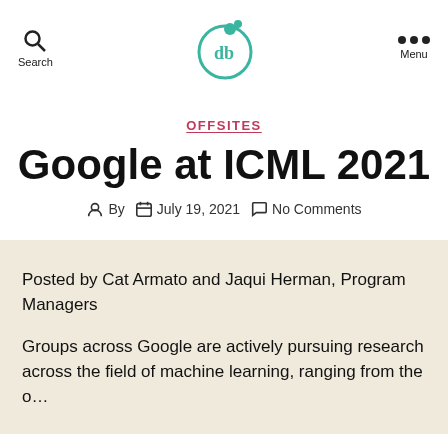Search | db logo | Menu
OFFSITES
Google at ICML 2021
By  July 19, 2021  No Comments
Posted by Cat Armato and Jaqui Herman, Program Managers
Groups across Google are actively pursuing research across the field of machine learning, ranging from the o…